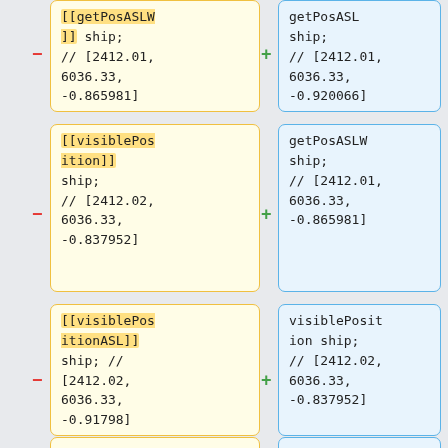[[getPosASLW]] ship; // [2412.01, 6036.33, -0.865981]
getPosASL ship; // [2412.01, 6036.33, -0.920066]
[[visiblePosition]] ship; // [2412.02, 6036.33, -0.837952]
getPosASLW ship; // [2412.01, 6036.33, -0.865981]
[[visiblePositionASL]] ship; // [2412.02, 6036.33, -0.91798]
visiblePosition ship; // [2412.02, 6036.33, -0.837952]
position ship; // [2412.01,
visiblePositionASL ship; // [2412.02,